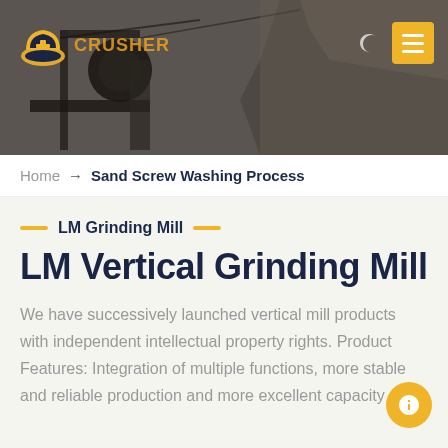[Figure (screenshot): Website header with dark rocky quarry/mining scene background, orange crusher logo on top left, moon icon and yellow hamburger menu button on top right]
Home → Sand Screw Washing Process
LM Grinding Mill
LM Vertical Grinding Mill
We have successively launched vertical mill products with independent intellectual property rights. Product Features: Integration of multiple functions, more stable and reliable production and more excellent capacity